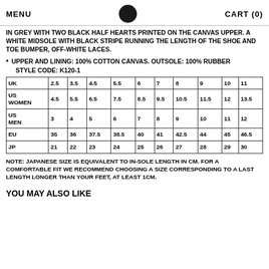MENU   CART (0)
IN GREY WITH TWO BLACK HALF HEARTS PRINTED ON THE CANVAS UPPER. A WHITE MIDSOLE WITH BLACK STRIPE RUNNING THE LENGTH OF THE SHOE AND TOE BUMPER, OFF-WHITE LACES.
UPPER AND LINING: 100% COTTON CANVAS. OUTSOLE: 100% RUBBER
STYLE CODE: K120-1
| UK | 2.5 | 3.5 | 4.5 | 5.5 | 6 | 7 | 8 | 9 | 10 | 11 |
| --- | --- | --- | --- | --- | --- | --- | --- | --- | --- | --- |
| US WOMEN | 4.5 | 5.5 | 6.5 | 7.5 | 8.5 | 9.5 | 10.5 | 11.5 | 12 | 13.5 |
| US MEN | 3 | 4 | 5 | 6 | 7 | 8 | 9 | 10 | 11 | 12 |
| EU | 35 | 36 | 37.5 | 38.5 | 40 | 41 | 42.5 | 44 | 45 | 46.5 |
| JP | 21 | 22 | 23 | 24 | 25 | 26 | 27 | 28 | 29 | 30 |
NOTE: JAPANESE SIZE IS EQUIVALENT TO IN-SOLE LENGTH IN CM. FOR A COMFORTABLE FIT WE RECOMMEND CHOOSING A SIZE CORRESPONDING TO A LAST LENGTH LONGER THAN YOUR FEET, AT LEAST 1CM.
YOU MAY ALSO LIKE